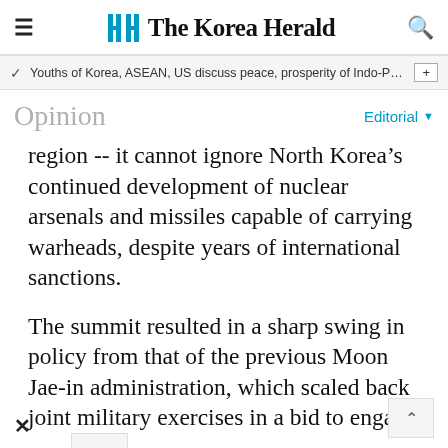The Korea Herald
Youths of Korea, ASEAN, US discuss peace, prosperity of Indo-Paci…
Opinion
Editorial
region -- it cannot ignore North Korea’s continued development of nuclear arsenals and missiles capable of carrying warheads, despite years of international sanctions.
The summit resulted in a sharp swing in policy from that of the previous Moon Jae-in administration, which scaled back joint military exercises in a bid to engage Nort…